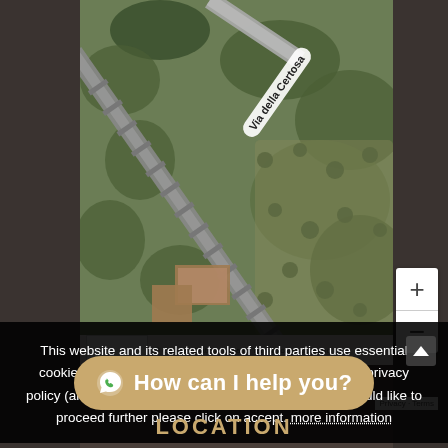[Figure (map): Satellite aerial map view showing an intersection of Via della Certosa road with railway tracks and surrounding vegetation/trees from above. Google Maps satellite imagery.]
This website and its related tools of third parties use essential cookies.</br> For more information please refer to our privacy policy (art. 13 of UE regulation 2016/679).</br> If you would like to proceed further please click on accept. more information
How can I help you?
LOCATION